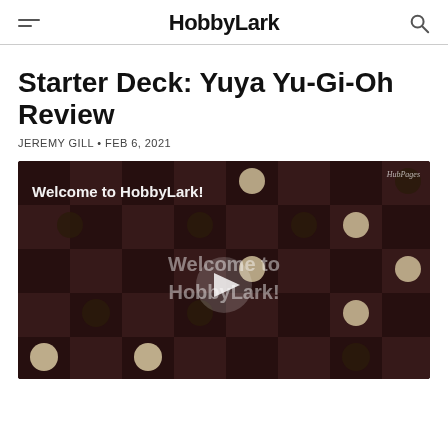HobbyLark
Starter Deck: Yuya Yu-Gi-Oh Review
JEREMY GILL • FEB 6, 2021
[Figure (screenshot): Video thumbnail showing a checkers board with hands, overlaid with text 'Welcome to HobbyLark!' and a play button in the center. HubPages watermark visible in top-right.]